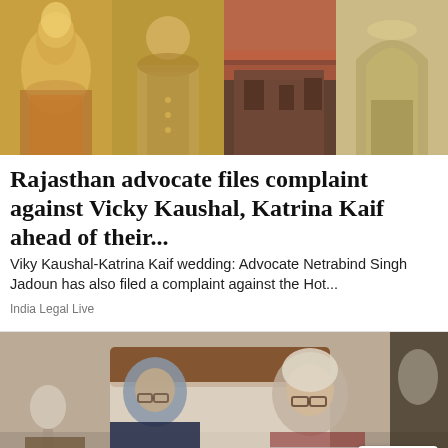[Figure (photo): Collage of four images: bride in ornate wedding attire, groom in sherwani, fort/ruins at dusk, and ornate interior arch]
Rajasthan advocate files complaint against Vicky Kaushal, Katrina Kaif ahead of their...
Viky Kaushal-Katrina Kaif wedding: Advocate Netrabind Singh Jadoun has also filed a complaint against the Hot...
India Legal Live
[Figure (photo): Elderly couple sitting on a bed in a bedroom. Man on left wearing dark polo shirt and glasses, woman on right wearing striped top and glasses. Lamp visible on left, reCAPTCHA badge in bottom right corner.]